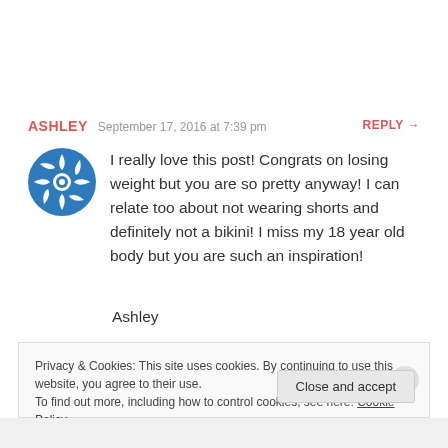ASHLEY   September 17, 2016 at 7:39 pm   REPLY →
[Figure (logo): Blue circular decorative avatar icon with geometric star/snowflake pattern in white on blue background]
I really love this post! Congrats on losing weight but you are so pretty anyway! I can relate too about not wearing shorts and definitely not a bikini! I miss my 18 year old body but you are such an inspiration!
Ashley
Privacy & Cookies: This site uses cookies. By continuing to use this website, you agree to their use.
To find out more, including how to control cookies, see here: Cookie Policy
Close and accept